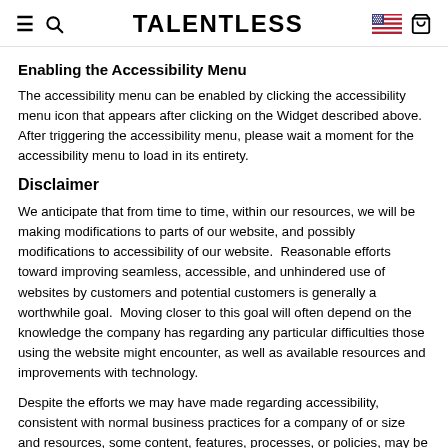TALENTLESS
Enabling the Accessibility Menu
The accessibility menu can be enabled by clicking the accessibility menu icon that appears after clicking on the Widget described above. After triggering the accessibility menu, please wait a moment for the accessibility menu to load in its entirety.
Disclaimer
We anticipate that from time to time, within our resources, we will be making modifications to parts of our website, and possibly modifications to accessibility of our website.  Reasonable efforts toward improving seamless, accessible, and unhindered use of websites by customers and potential customers is generally a worthwhile goal.  Moving closer to this goal will often depend on the knowledge the company has regarding any particular difficulties those using the website might encounter, as well as available resources and improvements with technology.
Despite the efforts we may have made regarding accessibility, consistent with normal business practices for a company of or size and resources, some content, features, processes, or policies, may be improved, so we welcome your suggestions.